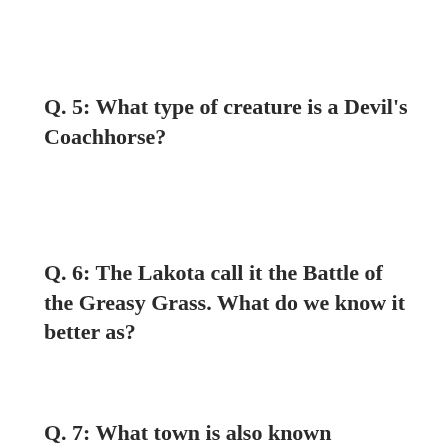Q.  5:  What type of creature is a Devil's Coachhorse?
Q.  6:  The Lakota call it the Battle of the Greasy Grass. What do we know it better as?
Q.  7:  What town is also known worldwide